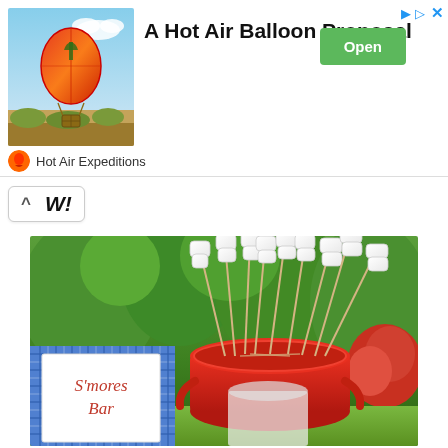[Figure (screenshot): Advertisement banner: Hot air balloon photo on left, title 'A Hot Air Balloon Proposal', green 'Open' button, 'Hot Air Expeditions' brand name with logo icon. Ad skip and play icons top right.]
W!
[Figure (photo): Photo of marshmallows on sticks arranged in a red metal bucket/tub, with a sign reading 'S'mores Bar' next to a blue gingham tablecloth, outdoor garden setting with green trees in background.]